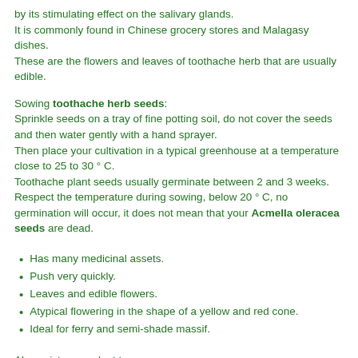by its stimulating effect on the salivary glands. It is commonly found in Chinese grocery stores and Malagasy dishes. These are the flowers and leaves of toothache herb that are usually edible.
Sowing toothache herb seeds: Sprinkle seeds on a tray of fine potting soil, do not cover the seeds and then water gently with a hand sprayer. Then place your cultivation in a typical greenhouse at a temperature close to 25 to 30 ° C. Toothache plant seeds usually germinate between 2 and 3 weeks. Respect the temperature during sowing, below 20 ° C, no germination will occur, it does not mean that your Acmella oleracea seeds are dead.
Has many medicinal assets.
Push very quickly.
Leaves and edible flowers.
Atypical flowering in the shape of a yellow and red cone.
Ideal for ferry and semi-shade massif.
Also exists as a plant to grow.
Unusual plant seeds on sale to cultivate.